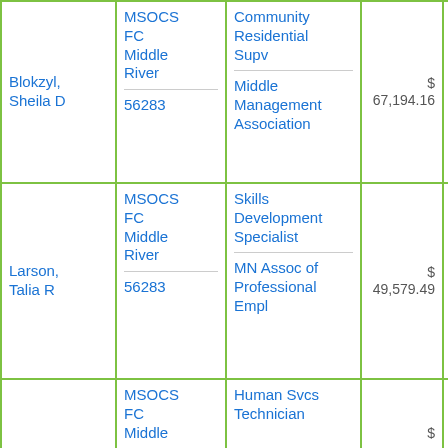| Name | Department/Location/ID | Title/Union | Salary | Other |
| --- | --- | --- | --- | --- |
| Blokzyl, Sheila D | MSOCS FC Middle River
56283 | Community Residential Supv
Middle Management Association | $ 67,194.16 | $ 0 |
| Larson, Talia R | MSOCS FC Middle River
56283 | Skills Development Specialist
MN Assoc of Professional Empl | $ 49,579.49 | $ 922 |
|  | MSOCS FC Middle
 | Human Svcs Technician
 |  |  |